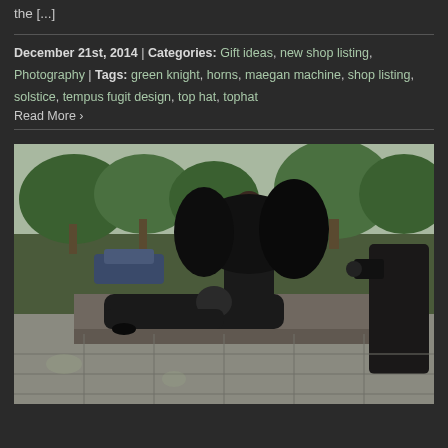the [...]
December 21st, 2014 | Categories: Gift ideas, new shop listing, Photography | Tags: green knight, horns, maegan machine, shop listing, solstice, tempus fugit design, top hat, tophat
Read More >
[Figure (photo): Outdoor photo shoot scene with people dressed in elaborate black costumes. A woman in a dramatic black outfit with large black feathered wings or cape sits on a stone ledge. Another person in black lies/leans across her lap. A photographer is visible on the right. Trees and parked cars are visible in the background.]